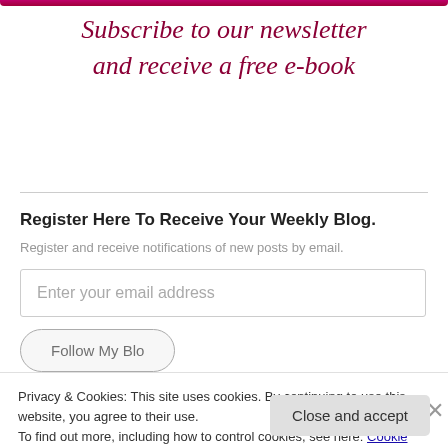Subscribe to our newsletter and receive a free e-book
Register Here To Receive Your Weekly Blog.
Register and receive notifications of new posts by email.
Enter your email address
Follow My Blog
Privacy & Cookies: This site uses cookies. By continuing to use this website, you agree to their use.
To find out more, including how to control cookies, see here: Cookie Policy
Close and accept